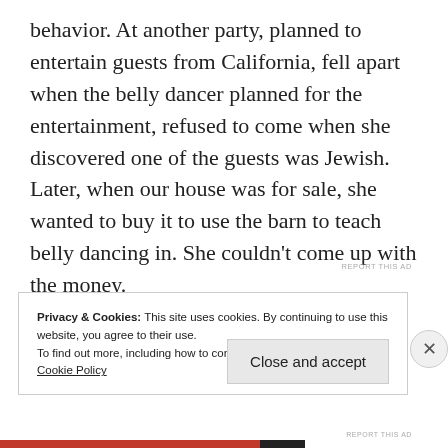behavior. At another party, planned to entertain guests from California, fell apart when the belly dancer planned for the entertainment, refused to come when she discovered one of the guests was Jewish. Later, when our house was for sale, she wanted to buy it to use the barn to teach belly dancing in. She couldn't come up with the money.
REPORT THIS AD
Privacy & Cookies: This site uses cookies. By continuing to use this website, you agree to their use.
To find out more, including how to control cookies, see here:
Cookie Policy
Close and accept